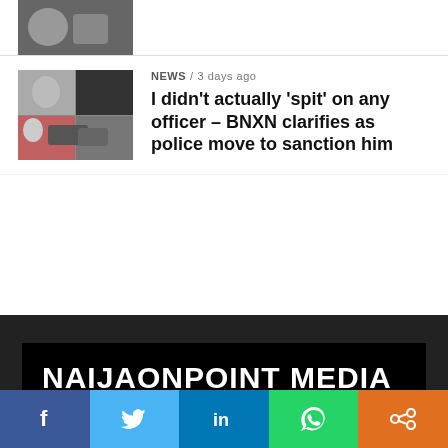[Figure (photo): Top article thumbnail, partially visible at top of page]
[Figure (photo): News article thumbnail showing people near a car, street scene collage]
NEWS / 3 days ago
I didn't actually 'spit' on any officer – BNXN clarifies as police move to sanction him
[Figure (logo): NAIJAONPOINT MEDIA logo, white bold text on black background]
CONTACT  ABOUT  ADVERTISE  DMCA  PRIVACY POLICY  PROMOTIONS  TERMS
[Figure (infographic): Social share bar: Facebook, Twitter, LinkedIn, WhatsApp, Share icons]